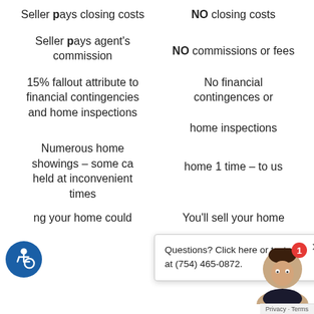Seller pays closing costs
NO closing costs
Seller pays agent's commission
NO commissions or fees
15% fallout attribute to financial contingencies and home inspections
No financial contingences or home inspections
Numerous home showings – some ca held at inconvenient times
home 1 time – to us
ng your home could
You'll sell your home
[Figure (infographic): Chat popup overlay: 'Questions? Click here or text us at (754) 465-0872.' with close X button]
[Figure (infographic): Accessibility wheelchair icon in blue circle, bottom left]
[Figure (photo): Female avatar/agent photo with notification badge showing 1, bottom right corner widget]